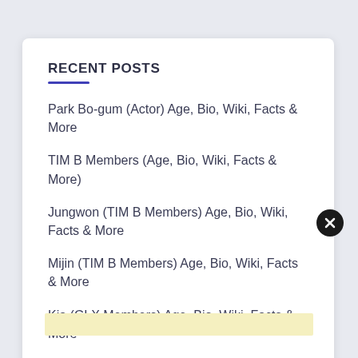RECENT POSTS
Park Bo-gum (Actor) Age, Bio, Wiki, Facts & More
TIM B Members (Age, Bio, Wiki, Facts & More)
Jungwon (TIM B Members) Age, Bio, Wiki, Facts & More
Mijin (TIM B Members) Age, Bio, Wiki, Facts & More
Kia (GLX Members) Age, Bio, Wiki, Facts & More